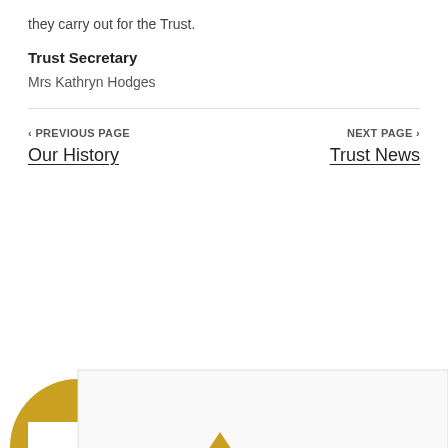they carry out for the Trust.
Trust Secretary
Mrs Kathryn Hodges
‹ PREVIOUS PAGE
Our History
NEXT PAGE ›
Trust News
[Figure (illustration): Decorative bottom graphic with a large mustard/golden circle, a dark green leaf/triangle shape, a white cutout rectangle, a light grey panel box, and a small yellow triangle inside the panel.]